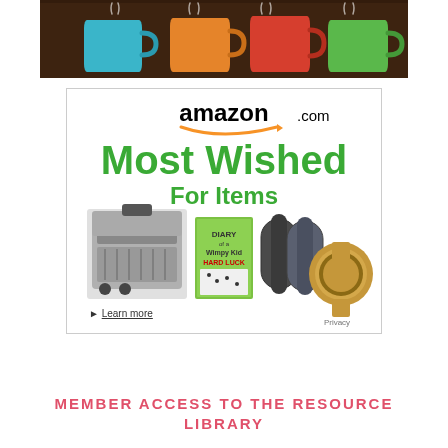[Figure (photo): Colorful coffee mugs (blue, orange, red, green) with steam rising, on a dark wooden background]
[Figure (illustration): Amazon.com advertisement showing 'Most Wished For Items' in green text with products including a grill, Diary of a Wimpy Kid book, fitness trackers, and a watch. Includes 'Learn more' link and 'Privacy' text.]
MEMBER ACCESS TO THE RESOURCE LIBRARY